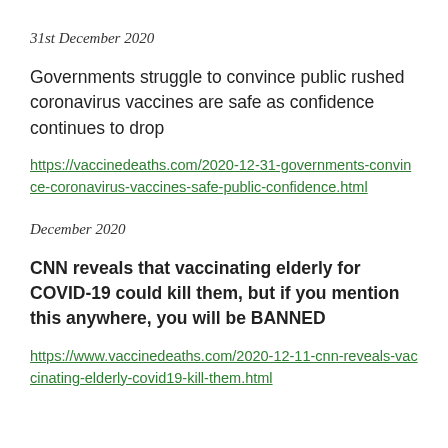31st December 2020
Governments struggle to convince public rushed coronavirus vaccines are safe as confidence continues to drop
https://vaccinedeaths.com/2020-12-31-governments-convince-coronavirus-vaccines-safe-public-confidence.html
December 2020
CNN reveals that vaccinating elderly for COVID-19 could kill them, but if you mention this anywhere, you will be BANNED
https://www.vaccinedeaths.com/2020-12-11-cnn-reveals-vaccinating-elderly-covid19-kill-them.html